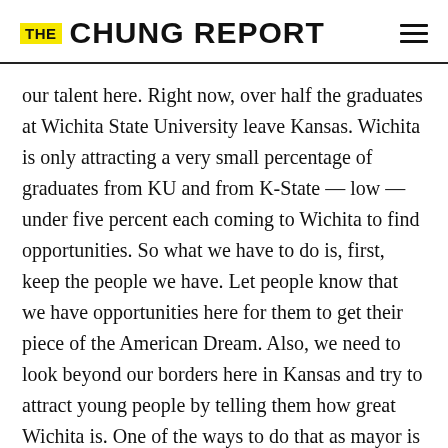THE CHUNG REPORT
our talent here. Right now, over half the graduates at Wichita State University leave Kansas. Wichita is only attracting a very small percentage of graduates from KU and from K-State — low — under five percent each coming to Wichita to find opportunities. So what we have to do is, first, keep the people we have. Let people know that we have opportunities here for them to get their piece of the American Dream. Also, we need to look beyond our borders here in Kansas and try to attract young people by telling them how great Wichita is. One of the ways to do that as mayor is to be the spokesperson for Wichita — to be the person who is out there bragging about Wichita, talking about how great Wichita is and the opportunities we have here